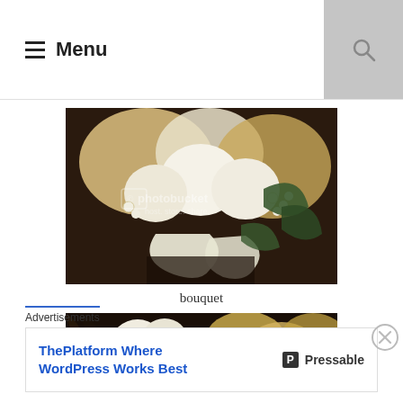Menu
[Figure (photo): Close-up photograph of a wedding bouquet featuring white and cream flowers, pearls, golden accents, and green leaves with a Photobucket watermark overlay]
bouquet
[Figure (photo): Partial photograph of a floral arrangement with white and golden/cream flowers on a dark background]
Advertisements
[Figure (other): Advertisement banner: ThePlatform Where WordPress Works Best — Pressable]